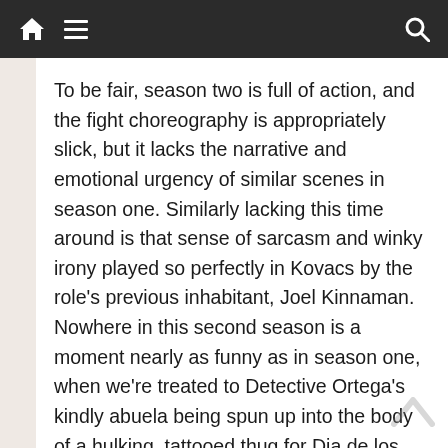[Navigation bar with home, menu, and search icons]
To be fair, season two is full of action, and the fight choreography is appropriately slick, but it lacks the narrative and emotional urgency of similar scenes in season one. Similarly lacking this time around is that sense of sarcasm and winky irony played so perfectly in Kovacs by the role's previous inhabitant, Joel Kinnaman. Nowhere in this second season is a moment nearly as funny as in season one, when we're treated to Detective Ortega's kindly abuela being spun up into the body of a hulking, tattooed thug for Dia de los Muertos. There's plenty of moody brooding, though. This season has lots of that.
As we finally get to the end of the season and unspool all the plot threads to find the center of